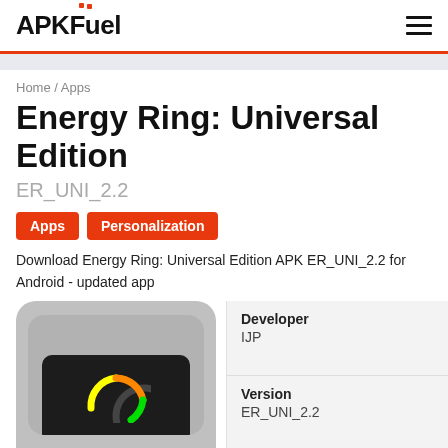APKFuel
Home / Apps
Energy Ring: Universal Edition
ER_UNI_2.2
Apps
Personalization
Download Energy Ring: Universal Edition APK ER_UNI_2.2 for Android - updated app
[Figure (screenshot): App icon screenshot showing Energy Ring app with colorful ring on dark phone screen]
| Field | Value |
| --- | --- |
| Developer | IJP |
| Version | ER_UNI_2.2 |